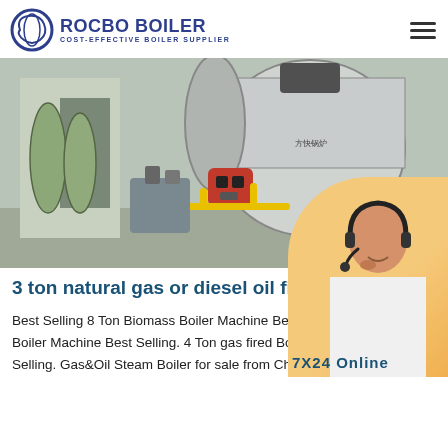ROCBO BOILER - COST-EFFECTIVE BOILER SUPPLIER
[Figure (photo): Industrial boiler room showing a large horizontal gas/oil-fired steam boiler with a red burner, yellow gas piping, water treatment tanks on the left, and a '10% DISCOUNT' badge on the bottom right of the image.]
3 ton natural gas or diesel oil fired boiler
Best Selling 8 Ton Biomass Boiler Machine Bela... Boiler Machine Best Selling. 4 Ton gas fired Boile... Selling. Gas&Oil Steam Boiler for sale from China Suppliers - page